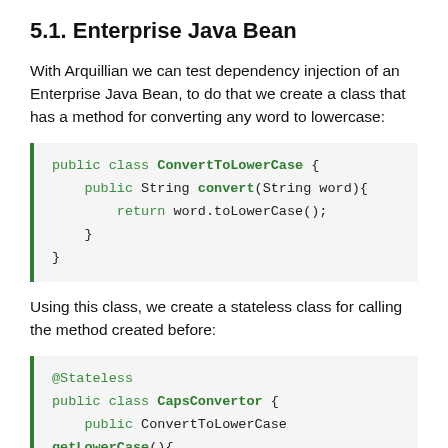5.1. Enterprise Java Bean
With Arquillian we can test dependency injection of an Enterprise Java Bean, to do that we create a class that has a method for converting any word to lowercase:
public class ConvertToLowerCase {
    public String convert(String word){
        return word.toLowerCase();
    }
}
Using this class, we create a stateless class for calling the method created before:
@Stateless
public class CapsConvertor {
    public ConvertToLowerCase getLowerCase(){